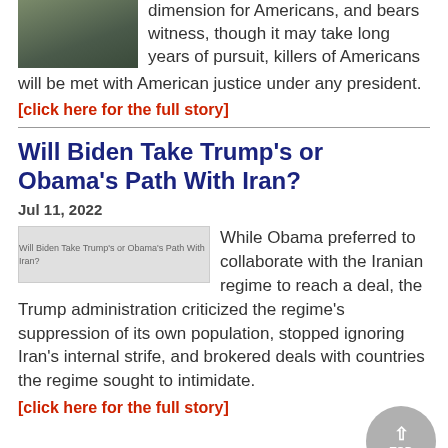dimension for Americans, and bears witness, though it may take long years of pursuit, killers of Americans will be met with American justice under any president.
[click here for the full story]
Will Biden Take Trump's or Obama's Path With Iran?
Jul 11, 2022
[Figure (photo): Article thumbnail image for Will Biden Take Trump's or Obama's Path With Iran?]
While Obama preferred to collaborate with the Iranian regime to reach a deal, the Trump administration criticized the regime's suppression of its own population, stopped ignoring Iran's internal strife, and brokered deals with countries the regime sought to intimidate.
[click here for the full story]
Biden's Gulf Rapprochement a Half-Baked Diplomatic Ballet